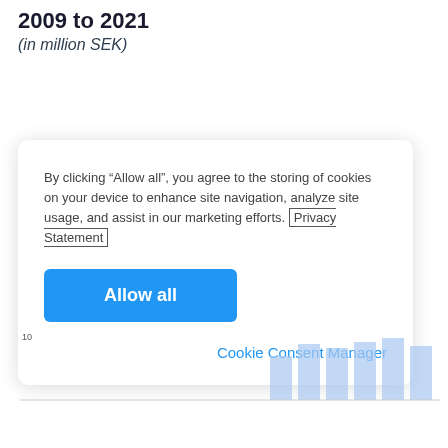2009 to 2021
(in million SEK)
By clicking “Allow all”, you agree to the storing of cookies on your device to enhance site navigation, analyze site usage, and assist in our marketing efforts. Privacy Statement
Allow all
Cookie Consent Manager
[Figure (bar-chart): Partial bar chart visible at bottom of page, showing light blue bars, partially obscured by the cookie consent overlay. Y-axis label shows '10'. Years 2009 to 2021 range implied by title.]